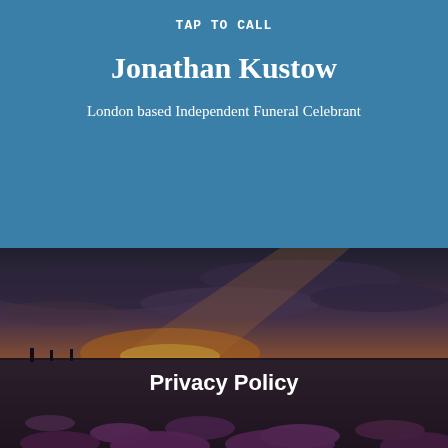TAP TO CALL
Jonathan Kustow
London based Independent Funeral Celebrant
[Figure (photo): Sunset landscape photograph showing a wide open field of purple flowers in the foreground, a dramatic sunset sky with orange and purple hues, and a dark silhouette of flat terrain on the horizon. The image has a slightly dark, moody tone.]
Privacy Policy